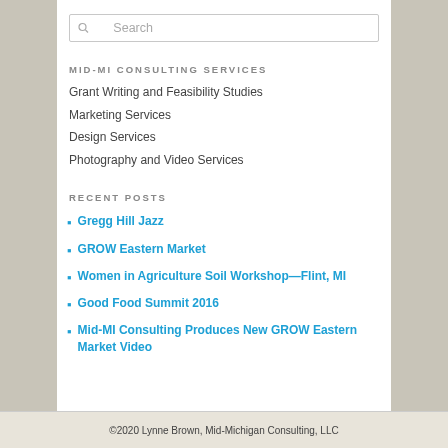Search
MID-MI CONSULTING SERVICES
Grant Writing and Feasibility Studies
Marketing Services
Design Services
Photography and Video Services
RECENT POSTS
Gregg Hill Jazz
GROW Eastern Market
Women in Agriculture Soil Workshop—Flint, MI
Good Food Summit 2016
Mid-MI Consulting Produces New GROW Eastern Market Video
©2020 Lynne Brown, Mid-Michigan Consulting, LLC